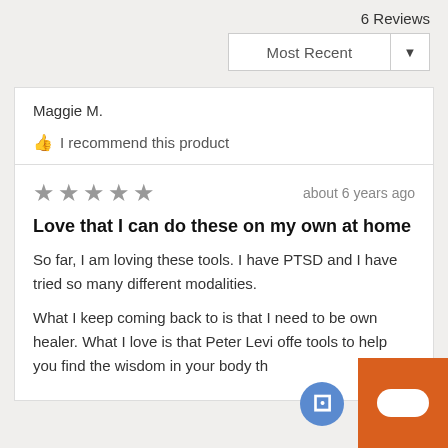6 Reviews
Most Recent
Maggie M.
I recommend this product
[Figure (other): 5 star rating displayed as grey stars]
about 6 years ago
Love that I can do these on my own at home
So far, I am loving these tools. I have PTSD and I have tried so many different modalities.
What I keep coming back to is that I need to be own healer. What I love is that Peter Levi offe tools to help you find the wisdom in your body th